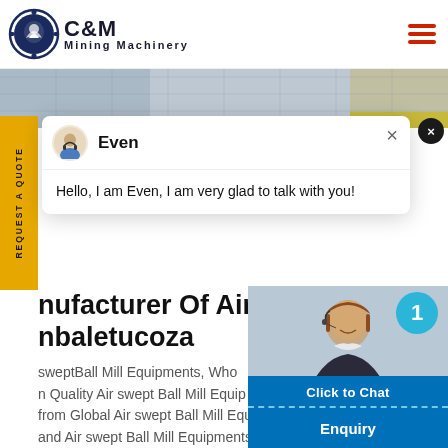[Figure (logo): C&M Mining Machinery logo with eagle in gear circle emblem, company name in bold text]
[Figure (photo): Industrial machinery/equipment banner image in grayscale]
REQUEST A QUOTE
Even
Hello, I am Even, I am very glad to talk with you!
manufacturer Of Air Swept Ball Mill Equipments mbaletucoza
swept Ball Mill Equipments, Wholesale Quality Air swept Ball Mill Equip from Global Air swept Ball Mill Equip and Air swept Ball Mill Equipments Factory,Importer,Exporter at
Click to Chat
Enquiry